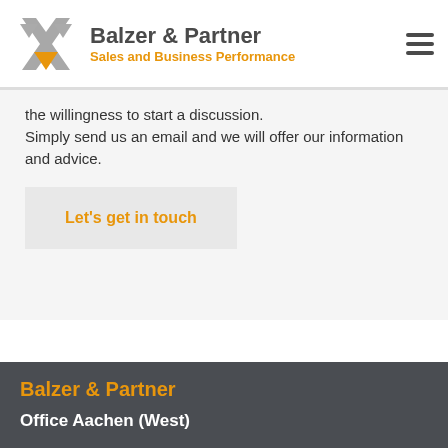Balzer & Partner — Sales and Business Performance
the willingness to start a discussion.
Simply send us an email and we will offer our information and advice.
Let's get in touch
Balzer & Partner
Office Aachen (West)